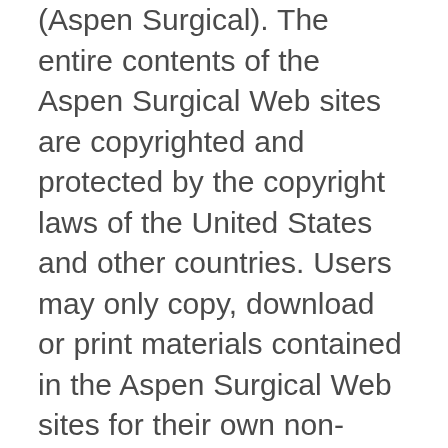(Aspen Surgical). The entire contents of the Aspen Surgical Web sites are copyrighted and protected by the copyright laws of the United States and other countries. Users may only copy, download or print materials contained in the Aspen Surgical Web sites for their own non-commercial use. The copying, downloading, printing, redistribution or republication of any material contained in an Aspen Surgical Web site for any commercial purpose is prohibited without the express, written permission of Aspen